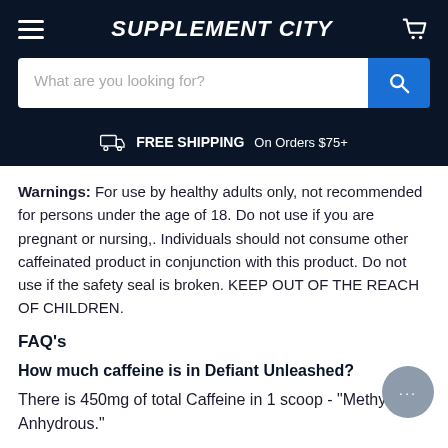SUPPLEMENT CITY
Warnings: For use by healthy adults only, not recommended for persons under the age of 18. Do not use if you are pregnant or nursing,. Individuals should not consume other caffeinated product in conjunction with this product. Do not use if the safety seal is broken. KEEP OUT OF THE REACH OF CHILDREN.
FAQ's
How much caffeine is in Defiant Unleashed?
There is 450mg of total Caffeine in 1 scoop - "Methylx Anhydrous."
What is the difference between Defiant Unleashed and the other